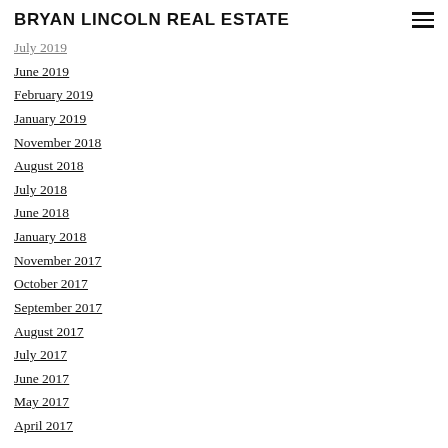BRYAN LINCOLN REAL ESTATE
July 2019
June 2019
February 2019
January 2019
November 2018
August 2018
July 2018
June 2018
January 2018
November 2017
October 2017
September 2017
August 2017
July 2017
June 2017
May 2017
April 2017